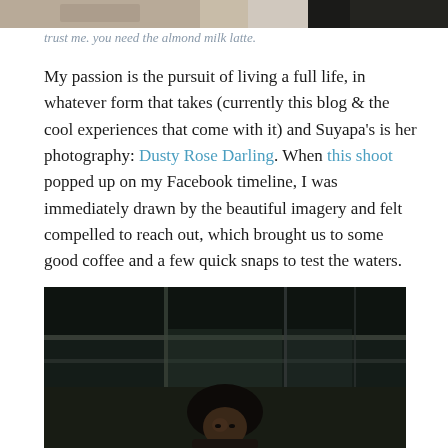[Figure (photo): Partial photograph at top of page, cropped, showing food/drink items]
trust me. you need the almond milk latte.
My passion is the pursuit of living a full life, in whatever form that takes (currently this blog & the cool experiences that come with it) and Suyapa's is her photography: Dusty Rose Darling. When this shoot popped up on my Facebook timeline, I was immediately drawn by the beautiful imagery and felt compelled to reach out, which brought us to some good coffee and a few quick snaps to test the waters.
[Figure (photo): Portrait photograph of a Black woman with natural hair, standing in front of glass and metal architectural elements, shot in a moody, dark tone]